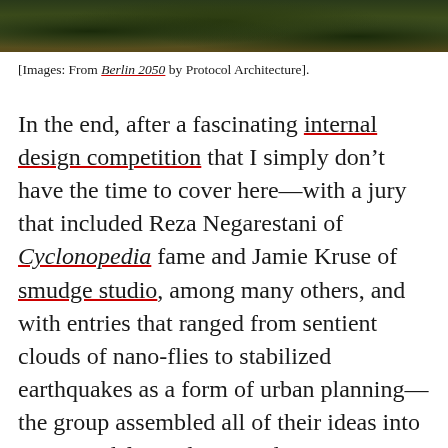[Figure (photo): Dark aerial photograph of dense tree canopy or vegetation, shown as a horizontal strip at top of page]
[Images: From Berlin 2050 by Protocol Architecture].
In the end, after a fascinating internal design competition that I simply don't have the time to cover here—with a jury that included Reza Negarestani of Cyclonopedia fame and Jamie Kruse of smudge studio, among many others, and with entries that ranged from sentient clouds of nano-flies to stabilized earthquakes as a form of urban planning—the group assembled all of their ideas into a proposal for underground spaces in Berlin. These final proposals, however, as well-rendered as they are, simply don't hold the imaginative appeal for me that the earlier studio material all but burns with.